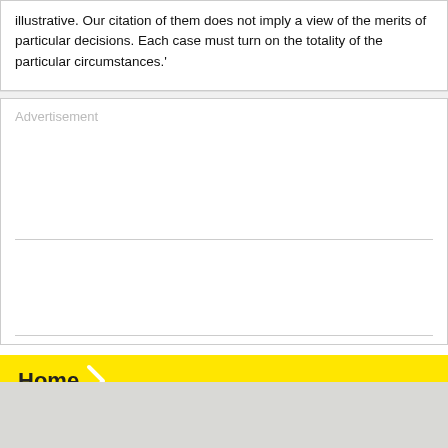illustrative. Our citation of them does not imply a view of the merits of particular decisions. Each case must turn on the totality of the particular circumstances.'
[Figure (other): Advertisement placeholder box with two sections separated by a horizontal line]
Home
[Figure (other): Small advertisement placeholder box]
[Figure (other): Gray footer strip]